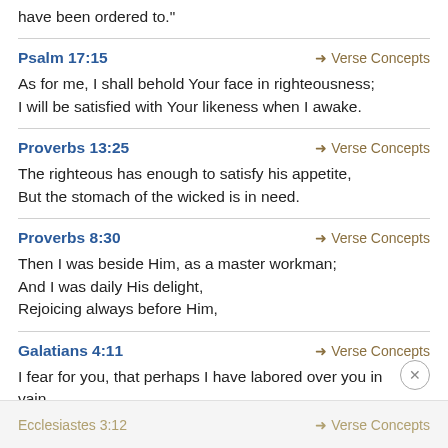And he said to them, "Collect no more than what you have been ordered to."
Psalm 17:15
Verse Concepts
As for me, I shall behold Your face in righteousness;
I will be satisfied with Your likeness when I awake.
Proverbs 13:25
Verse Concepts
The righteous has enough to satisfy his appetite,
But the stomach of the wicked is in need.
Proverbs 8:30
Verse Concepts
Then I was beside Him, as a master workman;
And I was daily His delight,
Rejoicing always before Him,
Galatians 4:11
Verse Concepts
I fear for you, that perhaps I have labored over you in vain.
Ecclesiastes 3:12   ➜ Verse Concepts